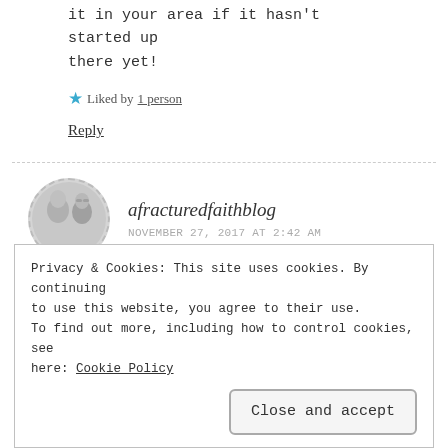it in your area if it hasn't started up there yet!
★ Liked by 1 person
Reply
afracturedfaithblog
NOVEMBER 27, 2017 AT 2:42 AM
I once found a perfect heart shaped rock on
Privacy & Cookies: This site uses cookies. By continuing to use this website, you agree to their use.
To find out more, including how to control cookies, see here: Cookie Policy
Close and accept